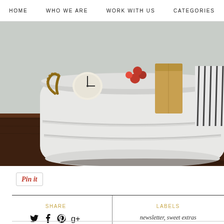HOME  WHO WE ARE  WORK WITH US  CATEGORIES
[Figure (photo): A white galvanized metal tub/bucket filled with various items including a clock, red flowers, kraft paper bag, and striped fabric, sitting on a dark wood surface against a light wall.]
[Figure (other): Pin It button with red italic script text inside a bordered rectangle]
SHARE
newsletter, sweet extras
LABELS